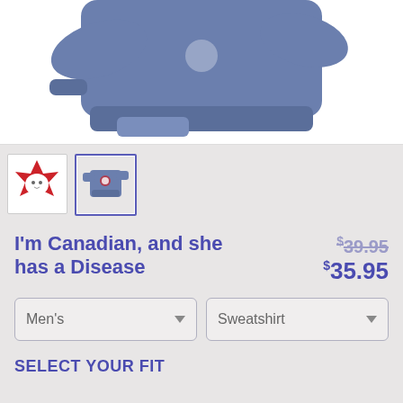[Figure (photo): Blue sweatshirt product photo showing the lower body of the garment with ribbed cuffs and hem, on white background]
[Figure (photo): Thumbnail 1: logo/design image with red maple leaf and white cat illustration]
[Figure (photo): Thumbnail 2: blue sweatshirt with logo (selected, highlighted with blue border)]
I'm Canadian, and she has a Disease
$39.95 $35.95
Men's
Sweatshirt
SELECT YOUR FIT